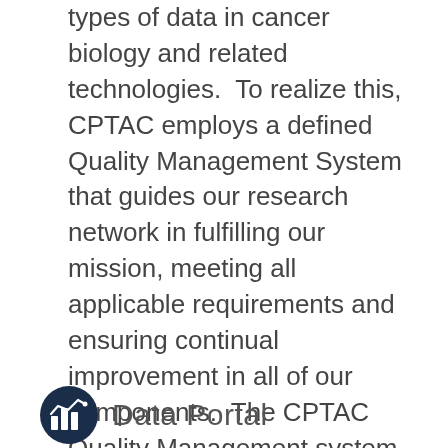types of data in cancer biology and related technologies.  To realize this, CPTAC employs a defined Quality Management System that guides our research network in fulfilling our mission, meeting all applicable requirements and ensuring continual improvement in all of our components.  The CPTAC Quality Management system manages and monitors all activities of the program and ensures that each component is equipped with the necessary materials data and information to meet or exceed the CPTAC program expectations.
[Figure (logo): Circular dark blue icon with a bar chart and line graph symbol inside, representing a data portal logo, followed by text 'Data Portal']